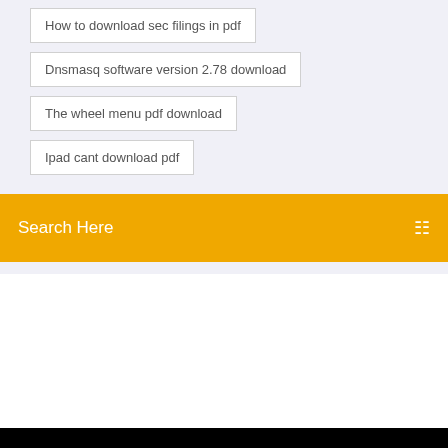How to download sec filings in pdf
Dnsmasq software version 2.78 download
The wheel menu pdf download
Ipad cant download pdf
Search Here
Photography blog